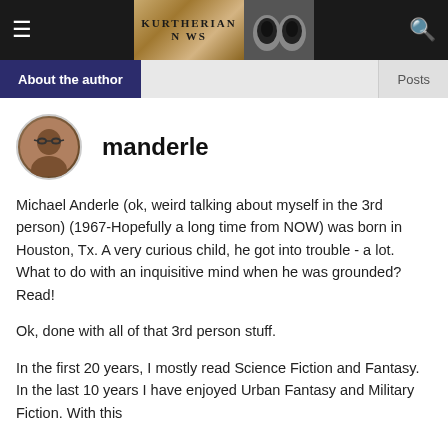KURTHERIAN NEWS
About the author | Posts
manderle
[Figure (photo): Circular author avatar photo of a person wearing glasses]
Michael Anderle (ok, weird talking about myself in the 3rd person) (1967-Hopefully a long time from NOW) was born in Houston, Tx. A very curious child, he got into trouble - a lot. What to do with an inquisitive mind when he was grounded? Read!
Ok, done with all of that 3rd person stuff.
In the first 20 years, I mostly read Science Fiction and Fantasy. In the last 10 years I have enjoyed Urban Fantasy and Military Fiction. With this